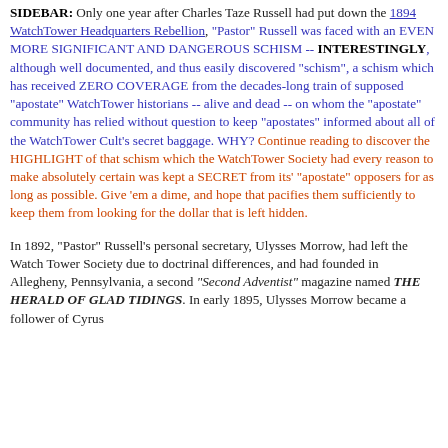SIDEBAR: Only one year after Charles Taze Russell had put down the 1894 WatchTower Headquarters Rebellion, "Pastor" Russell was faced with an EVEN MORE SIGNIFICANT AND DANGEROUS SCHISM -- INTERESTINGLY, although well documented, and thus easily discovered "schism", a schism which has received ZERO COVERAGE from the decades-long train of supposed "apostate" WatchTower historians -- alive and dead -- on whom the "apostate" community has relied without question to keep "apostates" informed about all of the WatchTower Cult's secret baggage. WHY? Continue reading to discover the HIGHLIGHT of that schism which the WatchTower Society had every reason to make absolutely certain was kept a SECRET from its' "apostate" opposers for as long as possible. Give 'em a dime, and hope that pacifies them sufficiently to keep them from looking for the dollar that is left hidden.
In 1892, "Pastor" Russell's personal secretary, Ulysses Morrow, had left the Watch Tower Society due to doctrinal differences, and had founded in Allegheny, Pennsylvania, a second "Second Adventist" magazine named THE HERALD OF GLAD TIDINGS. In early 1895, Ulysses Morrow became a follower of Cyrus